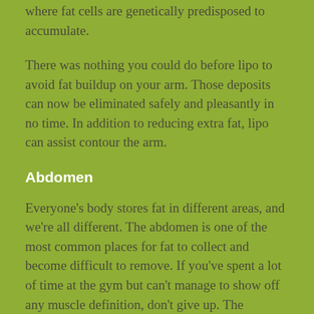where fat cells are genetically predisposed to accumulate.
There was nothing you could do before lipo to avoid fat buildup on your arm. Those deposits can now be eliminated safely and pleasantly in no time. In addition to reducing extra fat, lipo can assist contour the arm.
Abdomen
Everyone's body stores fat in different areas, and we're all different. The abdomen is one of the most common places for fat to collect and become difficult to remove. If you've spent a lot of time at the gym but can't manage to show off any muscle definition, don't give up. The muscles are already present; all that remains is to eliminate the barrier that prevents the rest of the world from seeing